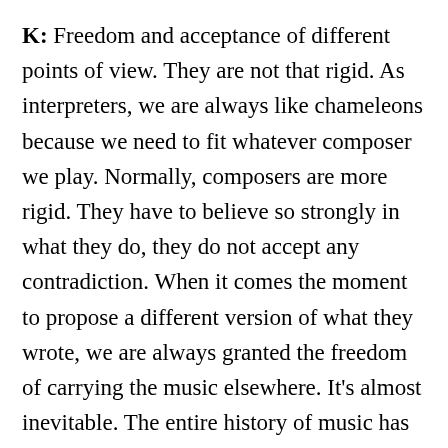K: Freedom and acceptance of different points of view. They are not that rigid. As interpreters, we are always like chameleons because we need to fit whatever composer we play. Normally, composers are more rigid. They have to believe so strongly in what they do, they do not accept any contradiction. When it comes the moment to propose a different version of what they wrote, we are always granted the freedom of carrying the music elsewhere. It's almost inevitable. The entire history of music has been written and has survived through its interpreters. Even if you write the most beautiful piece of music, but it stays in your room, it will not live on. So we know we have a possibility to give life or to bury a piece like the Sutro sisters did with the Bruch concerto. And lot of duos